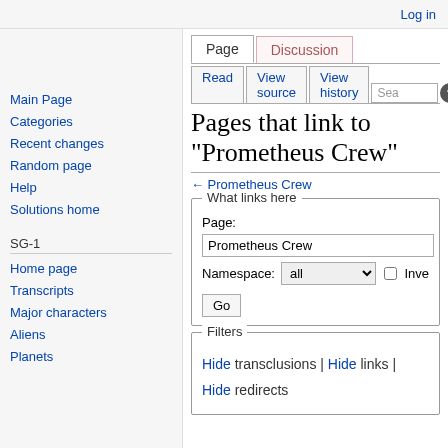Log in
Pages that link to "Prometheus Crew"
← Prometheus Crew
What links here
Page: Prometheus Crew
Namespace: all
Go
Filters
Hide transclusions | Hide links | Hide redirects
Main Page
Categories
Recent changes
Random page
Help
Solutions home
Home page
Transcripts
Major characters
Aliens
Planets